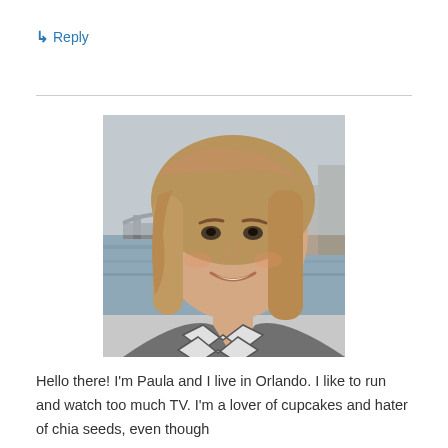↳ Reply
[Figure (photo): Selfie of a smiling woman with shoulder-length blonde-brown hair, wearing a chevron-patterned scarf, standing in front of a river with a bridge in the background.]
Hello there! I'm Paula and I live in Orlando. I like to run and watch too much TV. I'm a lover of cupcakes and hater of chia seeds, even though